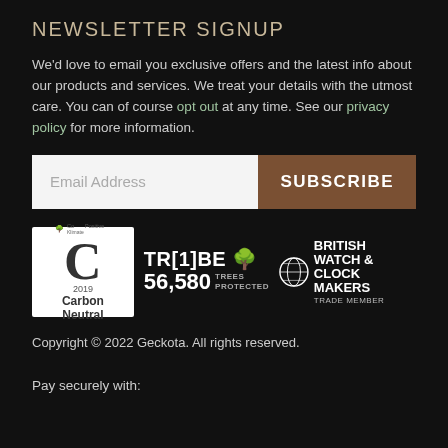NEWSLETTER SIGNUP
We’d love to email you exclusive offers and the latest info about our products and services. We treat your details with the utmost care. You can of course opt out at any time. See our privacy policy for more information.
[Figure (other): Email address input field with Subscribe button]
[Figure (other): Three badges: Carbon Neutral 2019, TR[1]BE 56,580 Trees Protected, British Watch & Clock Makers Trade Member]
Copyright © 2022 Geckota. All rights reserved.
Pay securely with: